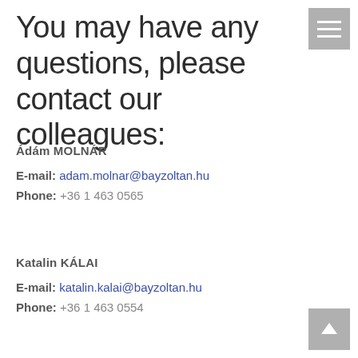You may have any questions, please contact our colleagues:
Ádám MOLNÁR
E-mail: adam.molnar@bayzoltan.hu
Phone: +36 1 463 0565
Katalin KÁLAI
E-mail: katalin.kalai@bayzoltan.hu
Phone: +36 1 463 0554